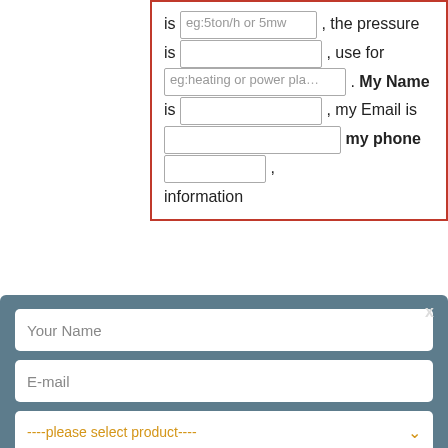is eg:5ton/h or 5mw , the pressure is , use for eg:heating or power plant . My Name is , my Email is , my phone , information
[Figure (screenshot): Modal contact form overlay with fields: Your Name, E-mail, product selector, capacity, and a SUBMIT button on a blue-grey background]
boiler | Froling S4 Turbo – Fröling
[Figure (photo): Industrial boiler equipment in a factory/warehouse setting, large blue machinery visible]
TOP